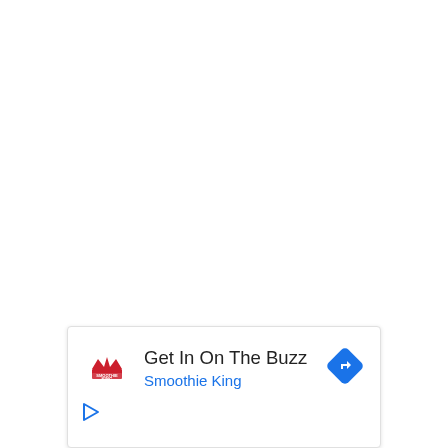[Figure (infographic): Mobile advertisement card for Smoothie King at the bottom of the page. Contains the Smoothie King logo (red crown with text), headline 'Get In On The Buzz', brand name 'Smoothie King' in blue, a blue diamond navigation/directions icon on the right, and a play button icon at the bottom left.]